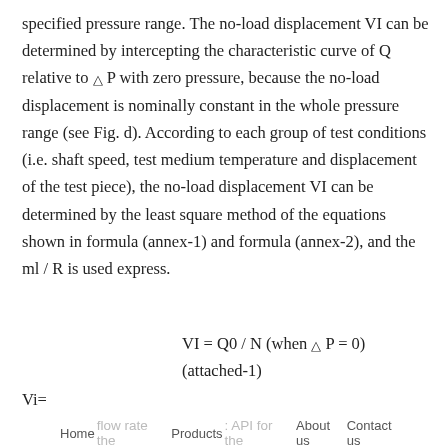specified pressure range. The no-load displacement VI can be determined by intercepting the characteristic curve of Q relative to △ P with zero pressure, because the no-load displacement is nominally constant in the whole pressure range (see Fig. d). According to each group of test conditions (i.e. shaft speed, test medium temperature and displacement of the test piece), the no-load displacement VI can be determined by the least square method of the equations shown in formula (annex-1) and formula (annex-2), and the ml / R is used express.
Vi=
Where Q0 -- flow rate when △ P = 0, L / min;
Home   Products   About us   Contact us